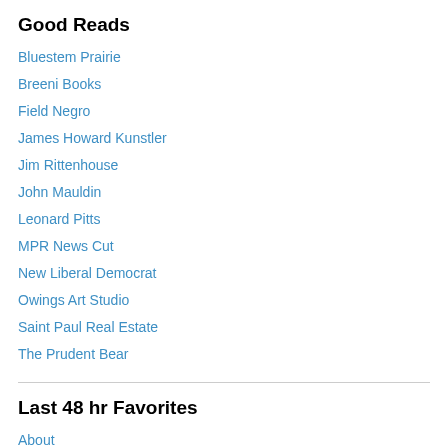Good Reads
Bluestem Prairie
Breeni Books
Field Negro
James Howard Kunstler
Jim Rittenhouse
John Mauldin
Leonard Pitts
MPR News Cut
New Liberal Democrat
Owings Art Studio
Saint Paul Real Estate
The Prudent Bear
Last 48 hr Favorites
About
FAQ